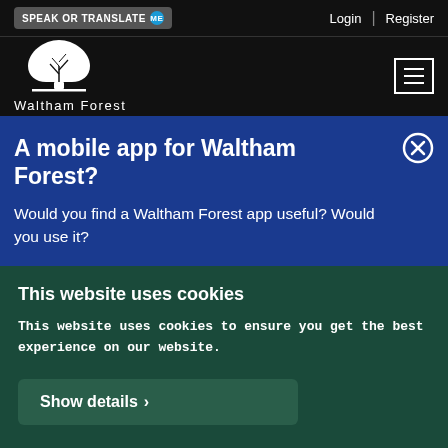SPEAK OR TRANSLATE me | Login | Register
[Figure (logo): Waltham Forest council logo — white tree icon above text 'Waltham Forest' on black background]
A mobile app for Waltham Forest?
Would you find a Waltham Forest app useful? Would you use it?
This website uses cookies
This website uses cookies to ensure you get the best experience on our website.
Show details ›
OK, accept all cookies
No, thanks